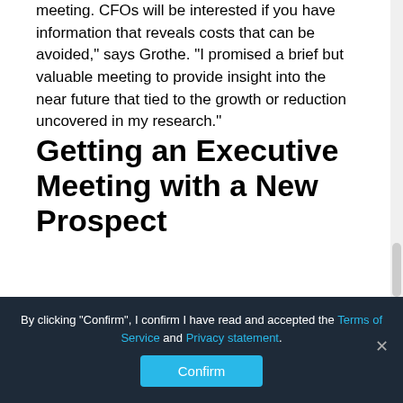meeting. CFOs will be interested if you have information that reveals costs that can be avoided," says Grothe. "I promised a brief but valuable meeting to provide insight into the near future that tied to the growth or reduction uncovered in my research."
Getting an Executive Meeting with a New Prospect
Grothe always led with time and attendance when approaching new clients. Selling at the executive
By clicking "Confirm", I confirm I have read and accepted the Terms of Service and Privacy statement.
Confirm